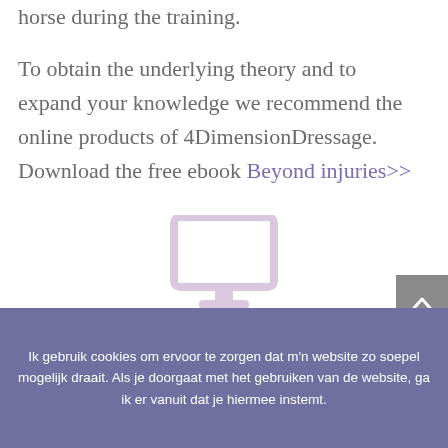horse during the training.

To obtain the underlying theory and to expand your knowledge we recommend the online products of 4DimensionDressage. Download the free ebook Beyond injuries>>
[Figure (illustration): Light pink/lavender monitor/computer screen icon]
Ik gebruik cookies om ervoor te zorgen dat m'n website zo soepel mogelijk draait. Als je doorgaat met het gebruiken van de website, ga ik er vanuit dat je hiermee instemt.